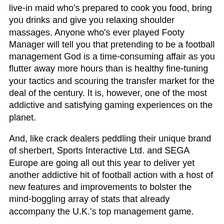live-in maid who's prepared to cook you food, bring you drinks and give you relaxing shoulder massages. Anyone who's ever played Footy Manager will tell you that pretending to be a football management God is a time-consuming affair as you flutter away more hours than is healthy fine-tuning your tactics and scouring the transfer market for the deal of the century. It is, however, one of the most addictive and satisfying gaming experiences on the planet.
And, like crack dealers peddling their unique brand of sherbert, Sports Interactive Ltd. and SEGA Europe are going all out this year to deliver yet another addictive hit of football action with a host of new features and improvements to bolster the mind-boggling array of stats that already accompany the U.K.'s top management game.
In total, SEGA tells us there are a whopping 800 new features, which include new in-game reports for scouting, enhanced transfer and contract systems and in-depth team-talks - not to mention an overhaul of the existing game engine. Here it is in action...